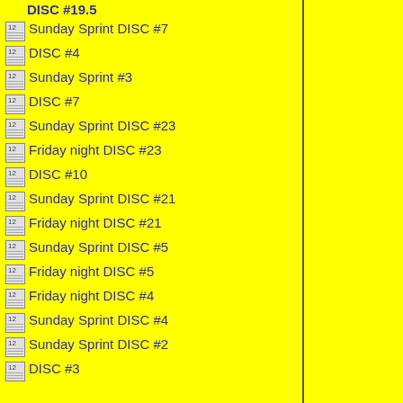DISC #19.5
Sunday Sprint DISC #7
DISC #4
Sunday Sprint #3
DISC #7
Sunday Sprint DISC #23
Friday night DISC #23
DISC #10
Sunday Sprint DISC #21
Friday night DISC #21
Sunday Sprint DISC #5
Friday night DISC #5
Friday night DISC #4
Sunday Sprint DISC #4
Sunday Sprint DISC #2
DISC #3